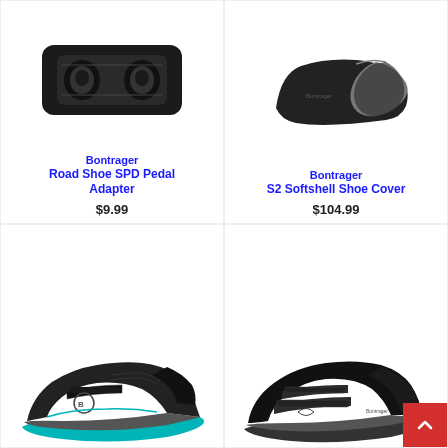[Figure (photo): Bontrager Road Shoe SPD Pedal Adapter - black plastic cleat adapter]
Bontrager
Road Shoe SPD Pedal Adapter
$9.99
[Figure (photo): Bontrager S2 Softshell Shoe Cover - black with grey toe cap]
Bontrager
S2 Softshell Shoe Cover
$104.99
[Figure (photo): Black cycling shoe with teal/turquoise sole and strap detail - low-profile MTB style]
[Figure (photo): Black road cycling shoe with two velcro straps]